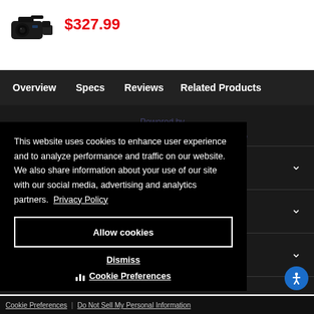[Figure (photo): Small black camcorder/video camera product image]
$327.99
Overview | Specs | Reviews | Related Products
Powered by
Nox Enterprise Commerce
Learn & Explore
Services
This website uses cookies to enhance user experience and to analyze performance and traffic on our website. We also share information about your use of our site with our social media, advertising and analytics partners.  Privacy Policy
Allow cookies
Dismiss
Cookie Preferences
Cookie Preferences | Do Not Sell My Personal Information